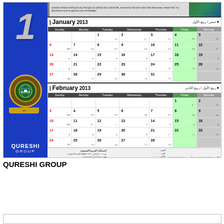[Figure (other): Qureshi Group calendar for January and February 2013, showing both Gregorian and Islamic (Hijri) dates. Left panel has large '1' numeral in silver/grey on blue background with Qureshi Group logo and branding. Right side shows two monthly calendar grids with Arabic numerals alongside the Gregorian dates. Bottom has contact information for the Saudi Arabian branch.]
QURESHI GROUP